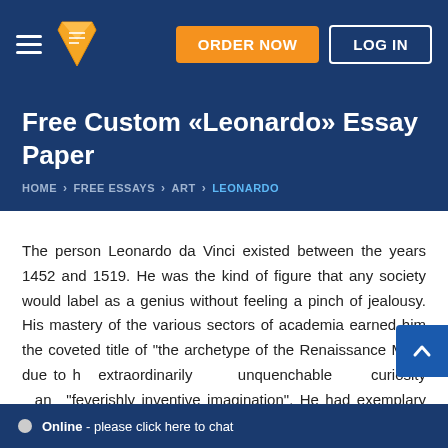ORDER NOW  LOG IN
Free Custom «Leonardo» Essay Paper
HOME > FREE ESSAYS > ART > LEONARDO
The person Leonardo da Vinci existed between the years 1452 and 1519. He was the kind of figure that any society would label as a genius without feeling a pinch of jealousy. His mastery of the various sectors of academia earned him the coveted title of "the archetype of the Renaissance Man" due to his extraordinarily unquenchable curiosity and "feverishly inventive imagination". He had exemplary talents in the various